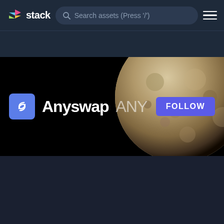stack — Search assets (Press '/')
[Figure (screenshot): Anyswap ANY cryptocurrency asset page banner with moon background, token icon, name, ticker, and FOLLOW button]
1. Summary
Ranks
Liquidity ⓘ